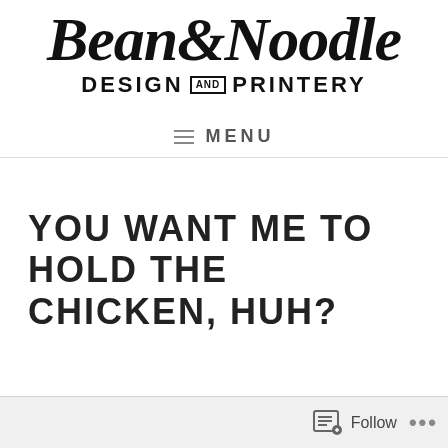[Figure (logo): Bean & Noodle Design and Printery logo — script cursive text on top reading 'Bean&Noodle', below in bold uppercase sans-serif 'DESIGN AND PRINTERY' with 'AND' in a bordered badge]
≡ MENU
YOU WANT ME TO HOLD THE CHICKEN, HUH?
[Figure (screenshot): Bottom toolbar with Follow button and ellipsis (…) options]